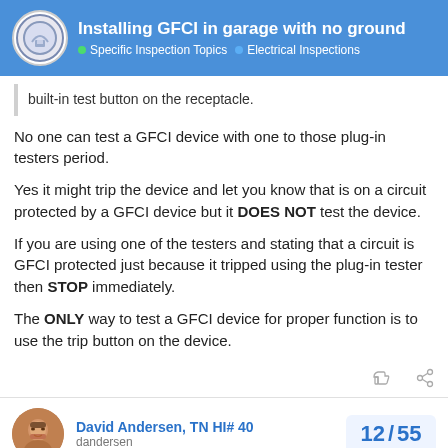Installing GFCI in garage with no ground | Specific Inspection Topics | Electrical Inspections
built-in test button on the receptacle.
No one can test a GFCI device with one to those plug-in testers period.
Yes it might trip the device and let you know that is on a circuit protected by a GFCI device but it DOES NOT test the device.
If you are using one of the testers and stating that a circuit is GFCI protected just because it tripped using the plug-in tester then STOP immediately.
The ONLY way to test a GFCI device for proper function is to use the trip button on the device.
David Andersen, TN HI# 40
dandersen
12 / 55